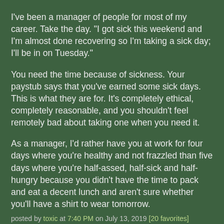I've been a manager of people for most of my career. Take the day. "I got sick this weekend and I'm almost done recovering so I'm taking a sick day; I'll be in on Tuesday."
You need the time because of sickness. Your paystub says that you've earned some sick days. This is what they are for. It's completely ethical, completely reasonable, and you shouldn't feel remotely bad about taking one when you need it.
As a manager, I'd rather have you at work for four days where you're healthy and not frazzled than five days where you're half-assed, half-sick and half-hungry because you didn't have the time to pack and eat a decent lunch and aren't sure whether you'll have a shirt to wear tomorrow.
posted by toxic at 7:40 PM on July 13, 2019 [20 favorites]